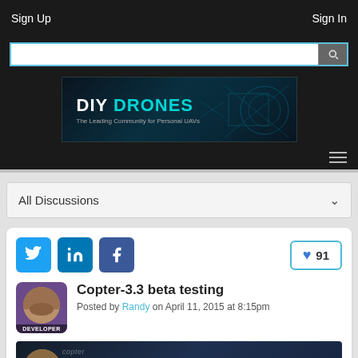Sign Up    Sign In
[Figure (screenshot): Search bar with magnifying glass icon on dark background]
[Figure (logo): DIY Drones – The Leading Community for Personal UAVs banner logo on dark teal background]
All Discussions
[Figure (infographic): Social share buttons: Twitter, LinkedIn, Facebook. Like button showing heart icon and 91]
Copter-3.3 beta testing
Posted by Randy on April 11, 2015 at 8:15pm
[Figure (screenshot): Video thumbnail showing APM:Copter V3.3 Release with presenter face and three-dot menu]